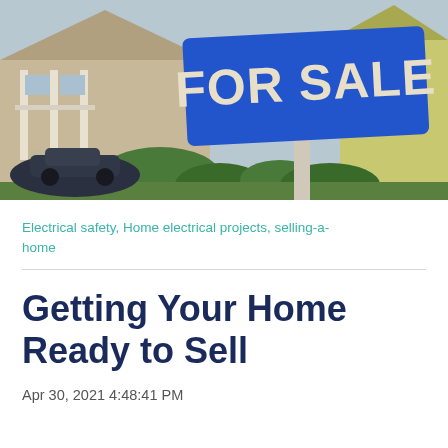[Figure (photo): A blue 'FOR SALE' real estate sign in front of a house, with a car visible in the background. Outdoor suburban setting.]
Electrical safety, Home electrical projects, selling-a-home
Getting Your Home Ready to Sell
Apr 30, 2021 4:48:41 PM